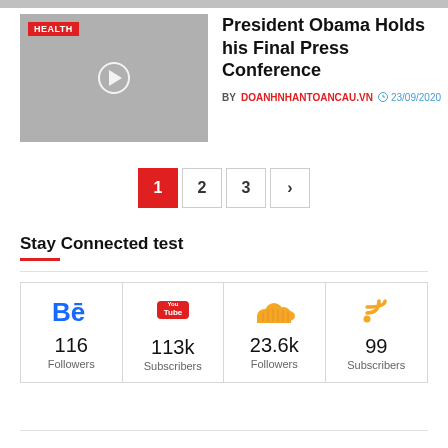[Figure (photo): Gray thumbnail with HEALTH badge and play button]
President Obama Holds his Final Press Conference
BY DOANHNHANTOANCAU.VN  23/09/2020
1  2  3  >
Stay Connected test
| Behance | YouTube | SoundCloud | RSS |
| --- | --- | --- | --- |
| 116 | 113k | 23.6k | 99 |
| Followers | Subscribers | Followers | Subscribers |